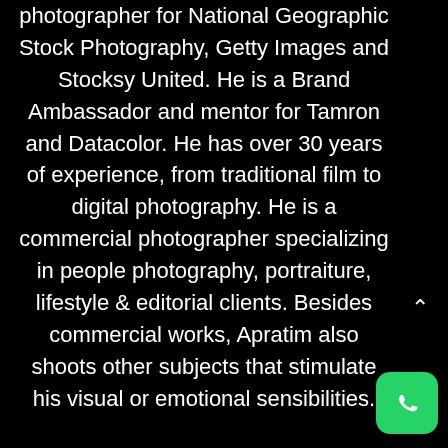Apratim Saha is a contributing photographer for National Geographic Stock Photography, Getty Images and Stocksy United. He is a Brand Ambassador and mentor for Tamron and Datacolor. He has over 30 years of experience, from traditional film to digital photography. He is a commercial photographer specializing in people photography, portraiture, lifestyle & editorial clients. Besides commercial works, Apratim also shoots other subjects that stimulate his visual or emotional sensibilities.